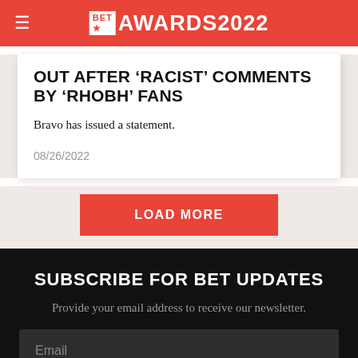BET AWARDS 2022
OUT AFTER 'RACIST' COMMENTS BY 'RHOBH' FANS
Bravo has issued a statement.
08/26/2022
LOAD MORE
SUBSCRIBE FOR BET UPDATES
Provide your email address to receive our newsletter.
Email